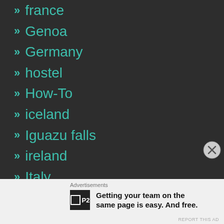» france
» Genoa
» Germany
» hostel
» How-To
» iceland
» Iguazu falls
» ireland
» Italy
» Jamaica
» Krakow
» landmarks
Advertisements
Getting your team on the same page is easy. And free.
REPORT THIS AD